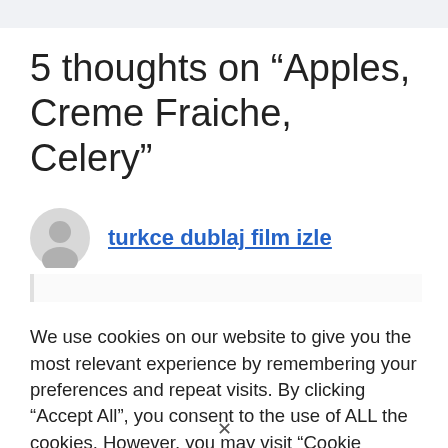5 thoughts on “Apples, Creme Fraiche, Celery”
turkce dublaj film izle
We use cookies on our website to give you the most relevant experience by remembering your preferences and repeat visits. By clicking “Accept All”, you consent to the use of ALL the cookies. However, you may visit "Cookie Settings" to provide a